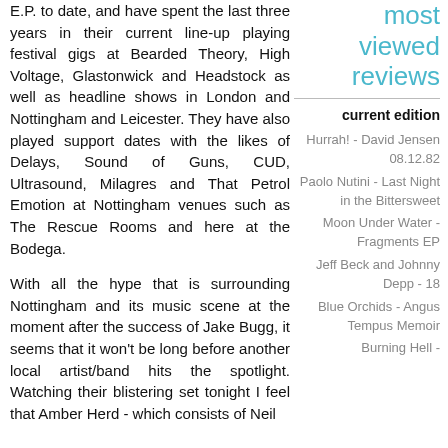E.P. to date, and have spent the last three years in their current line-up playing festival gigs at Bearded Theory, High Voltage, Glastonwick and Headstock as well as headline shows in London and Nottingham and Leicester. They have also played support dates with the likes of Delays, Sound of Guns, CUD, Ultrasound, Milagres and That Petrol Emotion at Nottingham venues such as The Rescue Rooms and here at the Bodega.
With all the hype that is surrounding Nottingham and its music scene at the moment after the success of Jake Bugg, it seems that it won't be long before another local artist/band hits the spotlight. Watching their blistering set tonight I feel that Amber Herd - which consists of Neil
most viewed reviews
current edition
Hurrah! - David Jensen 08.12.82
Paolo Nutini - Last Night in the Bittersweet
Moon Under Water - Fragments EP
Jeff Beck and Johnny Depp - 18
Blue Orchids - Angus Tempus Memoir
Burning Hell -